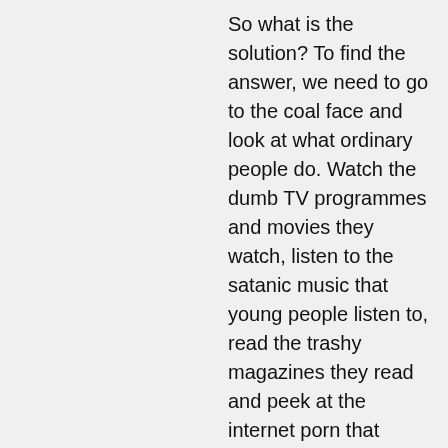So what is the solution? To find the answer, we need to go to the coal face and look at what ordinary people do. Watch the dumb TV programmes and movies they watch, listen to the satanic music that young people listen to, read the trashy magazines they read and peek at the internet porn that millions are addicted to. This is the poisonous culture that many young people swim in. It is the air they breathe. Government stands back as if it has nothing to do with them. It stands back because it is in the pockets of very rich people. It also stands back